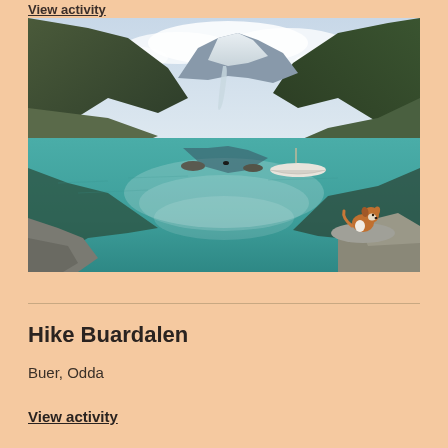View activity
[Figure (photo): Scenic Norwegian fjord lake (Bondhusvatnet/Buardalen area) with turquoise water reflecting snow-capped mountains and cloudy sky. A small white rowing boat floats on the right side, and a brown and white dog sits on a rock in the foreground right. Lush green forested mountain slopes on both sides.]
Hike Buardalen
Buer, Odda
View activity